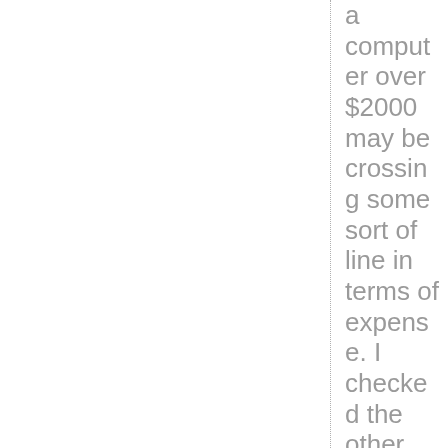a computer over $2000 may be crossing some sort of line in terms of expense. I checked the other websites,